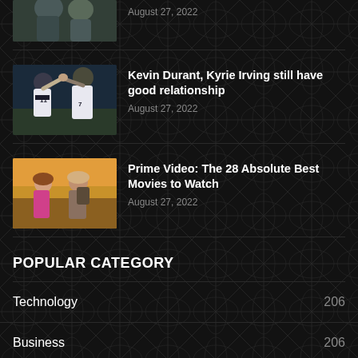[Figure (photo): Partial cropped photo of basketball players/coaches at top of page]
August 27, 2022
[Figure (photo): Kevin Durant (number 7) and Kyrie Irving (number 11) in Brooklyn Nets uniforms giving high five]
Kevin Durant, Kyrie Irving still have good relationship
August 27, 2022
[Figure (photo): A man and woman in adventure movie still, from Prime Video]
Prime Video: The 28 Absolute Best Movies to Watch
August 27, 2022
POPULAR CATEGORY
Technology  206
Business  206
Sports  206
Entertainment  206